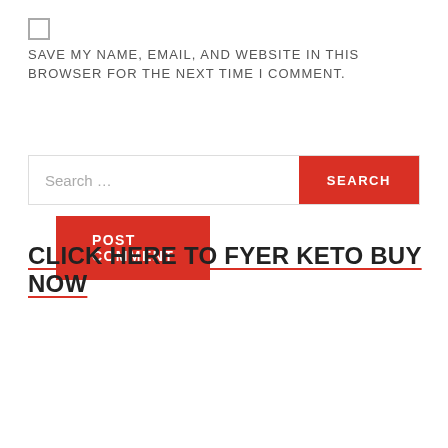SAVE MY NAME, EMAIL, AND WEBSITE IN THIS BROWSER FOR THE NEXT TIME I COMMENT.
POST COMMENT
Search...
SEARCH
CLICK HERE TO FYER KETO BUY NOW